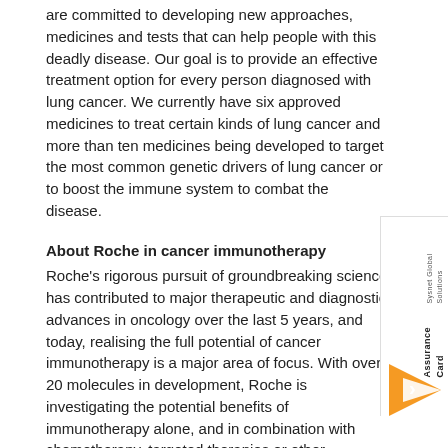are committed to developing new approaches, medicines and tests that can help people with this deadly disease. Our goal is to provide an effective treatment option for every person diagnosed with lung cancer. We currently have six approved medicines to treat certain kinds of lung cancer and more than ten medicines being developed to target the most common genetic drivers of lung cancer or to boost the immune system to combat the disease.
About Roche in cancer immunotherapy
Roche's rigorous pursuit of groundbreaking science has contributed to major therapeutic and diagnostic advances in oncology over the last 50 years, and today, realising the full potential of cancer immunotherapy is a major area of focus. With over 20 molecules in development, Roche is investigating the potential benefits of immunotherapy alone, and in combination with chemotherapy, targeted therapies or other immunotherapies with the goal of providing each person with a treatment tailored to harness their own unique immune system to attack their cancer. Our scientific expertise, coupled with an innovative pipeline and extensive partnerships, gives us the confidence to continue pursuing the vision of finding a cure for cancer by ensuring the right treatment for the right patient at the right time.
In addition to Roche's approved PD-L1 checkpoint inhibitor, Tecentriq®